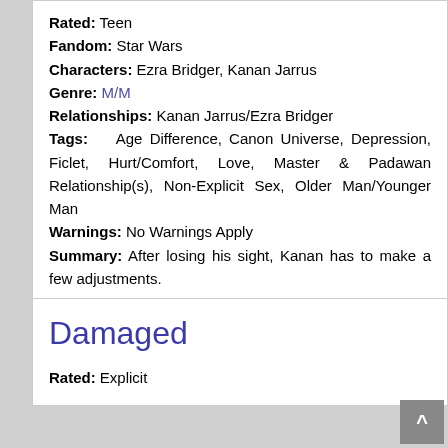Rated: Teen
Fandom: Star Wars
Characters: Ezra Bridger, Kanan Jarrus
Genre: M/M
Relationships: Kanan Jarrus/Ezra Bridger
Tags: Age Difference, Canon Universe, Depression, Ficlet, Hurt/Comfort, Love, Master & Padawan Relationship(s), Non-Explicit Sex, Older Man/Younger Man
Warnings: No Warnings Apply
Summary: After losing his sight, Kanan has to make a few adjustments.
Published: 21 Mar 2022   Updated: 21 Mar 2022   Words: 241   Chapters: 1   Comments: 0   Hits: 104
Damaged
Rated: Explicit